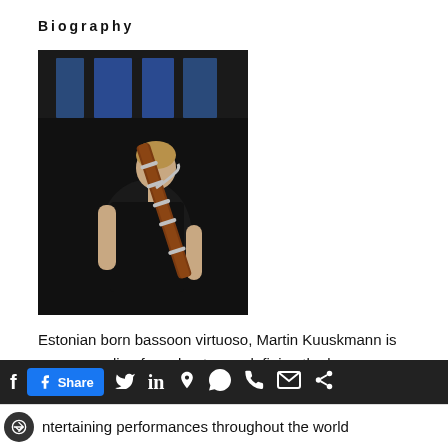Biography
[Figure (photo): A man playing a bassoon on stage, wearing a black t-shirt, performing in front of a dark background with blue-lit windows]
Estonian born bassoon virtuoso, Martin Kuuskmann is a commanding force bent on redefining the bassoon
ntertaining performances throughout the world
f  Share  [twitter] in [pinterest] [whatsapp] [phone] [mail] [link]  < ntertaining performances throughout the world